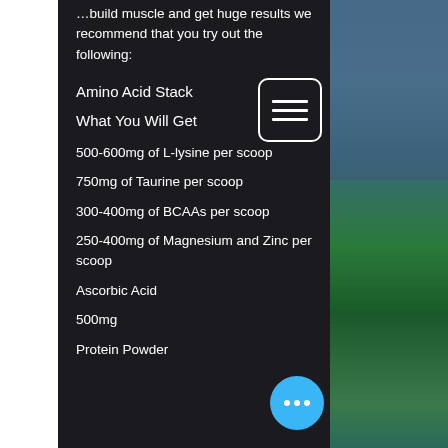…build muscle and get huge results we recommend that you try out the following:
Amino Acid Stack
What You Will Get
500-600mg of L-lysine per scoop
750mg of Taurine per scoop
300-400mg of BCAAs per scoop
250-400mg of Magnesium and Zinc per scoop
Ascorbic Acid
500mg
Protein Powder
[Figure (other): Menu/hamburger icon button with three horizontal lines, white border on dark background]
[Figure (other): Floating action button (blue circle) with three white dots]